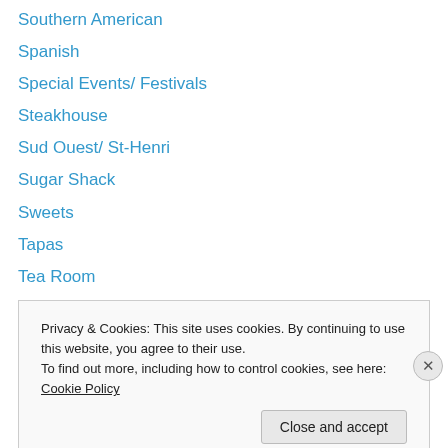Southern American
Spanish
Special Events/ Festivals
Steakhouse
Sud Ouest/ St-Henri
Sugar Shack
Sweets
Tapas
Tea Room
Turkish
Verdun
Vietnamese
Ville Marie
Privacy & Cookies: This site uses cookies. By continuing to use this website, you agree to their use.
To find out more, including how to control cookies, see here: Cookie Policy
Close and accept